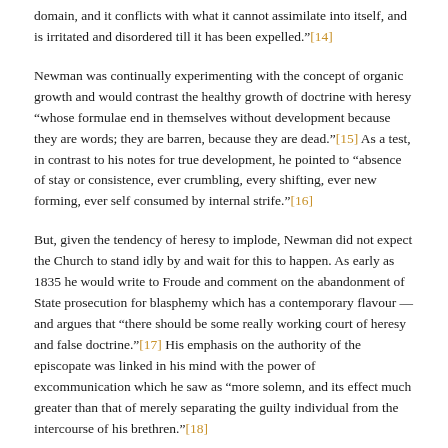domain, and it conflicts with what it cannot assimilate into itself, and is irritated and disordered till it has been expelled."[14]
Newman was continually experimenting with the concept of organic growth and would contrast the healthy growth of doctrine with heresy "whose formulae end in themselves without development because they are words; they are barren, because they are dead."[15] As a test, in contrast to his notes for true development, he pointed to "absence of stay or consistence, ever crumbling, every shifting, ever new forming, ever self consumed by internal strife."[16]
But, given the tendency of heresy to implode, Newman did not expect the Church to stand idly by and wait for this to happen. As early as 1835 he would write to Froude and comment on the abandonment of State prosecution for blasphemy which has a contemporary flavour — and argues that "there should be some really working court of heresy and false doctrine."[17] His emphasis on the authority of the episcopate was linked in his mind with the power of excommunication which he saw as "more solemn, and its effect much greater than that of merely separating the guilty individual from the intercourse of his brethren."[18]